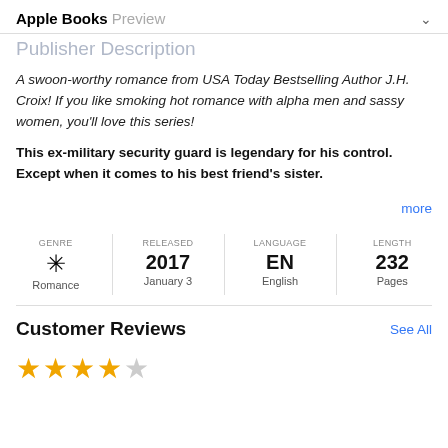Apple Books Preview
Publisher Description
A swoon-worthy romance from USA Today Bestselling Author J.H. Croix! If you like smoking hot romance with alpha men and sassy women, you'll love this series!
This ex-military security guard is legendary for his control. Except when it comes to his best friend's sister.
more
| GENRE | RELEASED | LANGUAGE | LENGTH |
| --- | --- | --- | --- |
| Romance | 2017
January 3 | EN
English | 232
Pages |
Customer Reviews
See All
[Figure (other): 4 out of 5 stars rating display with 4 filled gold stars and 1 empty star]